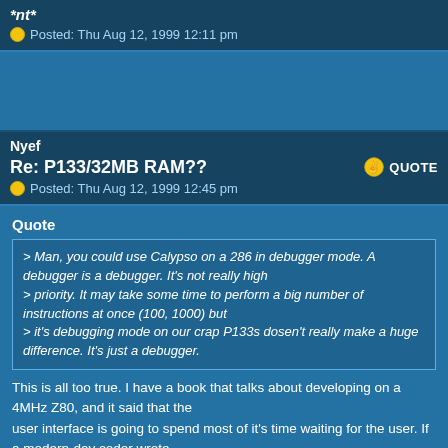*nt*
Posted: Thu Aug 12, 1999 12:11 pm
Nyef
Re: P133/32MB RAM??
Posted: Thu Aug 12, 1999 12:45 pm
Quote
> Man, you could use Calypso on a 286 in debugger mode. A debugger is a debugger. It's not really high
> priority. It may take some time to perform a big number of instructions at once (100, 1000) but
> it's debugging mode on our crap P133s dosen't really make a huge difference. It's just a debugger.
This is all too true. I have a book that talks about developing on a 4MHz Z80, and it said that the
user interface is going to spend most of it's time waiting for the user. If a modern-day coder wrote
the interface, however, I feel that it would probably be the other way around. :-)